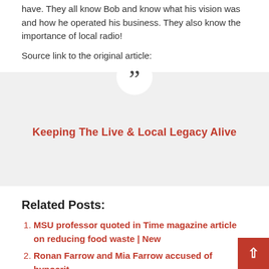have. They all know Bob and know what his vision was and how he operated his business. They also know the importance of local radio!
Source link to the original article:
[Figure (other): Quote box with light gray background and white circle at top containing large quotation mark symbol. Red italic bold text reads: Keeping The Live & Local Legacy Alive]
Related Posts:
MSU professor quoted in Time magazine article on reducing food waste | New
Ronan Farrow and Mia Farrow accused of hypocrit…